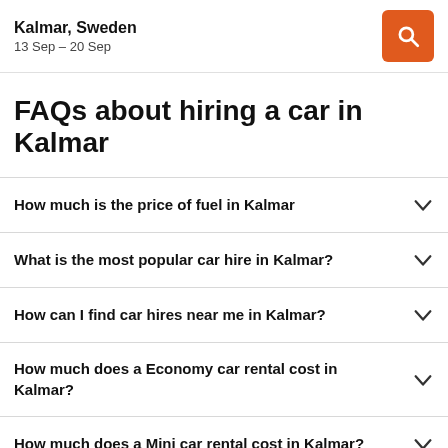Kalmar, Sweden
13 Sep – 20 Sep
FAQs about hiring a car in Kalmar
How much is the price of fuel in Kalmar
What is the most popular car hire in Kalmar?
How can I find car hires near me in Kalmar?
How much does a Economy car rental cost in Kalmar?
How much does a Mini car rental cost in Kalmar?